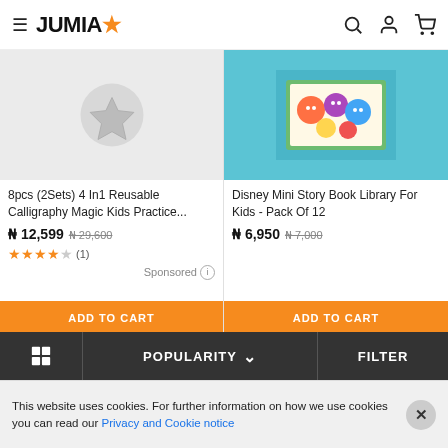JUMIA
[Figure (illustration): Product placeholder image with star/wishlist icon on grey background - Calligraphy set product]
8pcs (2Sets) 4 In1 Reusable Calligraphy Magic Kids Practice...
₦ 12,599  ₦ 29,600
★★★★☆ (1)
Sponsored ⓘ
ADD TO CART
[Figure (illustration): Disney Mini Story Book Library for Kids product image showing Disney characters]
Disney Mini Story Book Library For Kids - Pack Of 12
₦ 6,950  ₦ 7,000
ADD TO CART
POPULARITY  ∨  FILTER
This website uses cookies. For further information on how we use cookies you can read our Privacy and Cookie notice